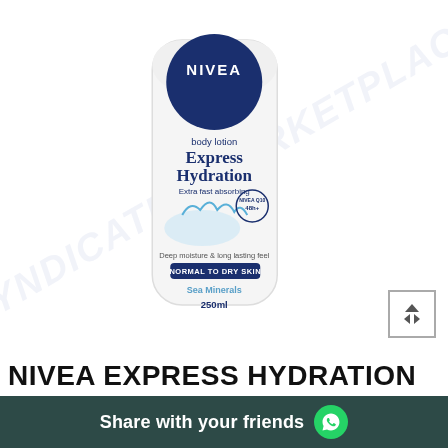[Figure (photo): NIVEA Express Hydration body lotion bottle (250ml) with dark blue circular NIVEA logo at top, white bottle body showing product text: body lotion, Express Hydration, Extra fast absorbing, Deep moisture & long lasting feel, NORMAL TO DRY SKIN, Sea Minerals, 250ml. Background has watermark text from an online marketplace.]
NIVEA EXPRESS HYDRATION
Share with your friends